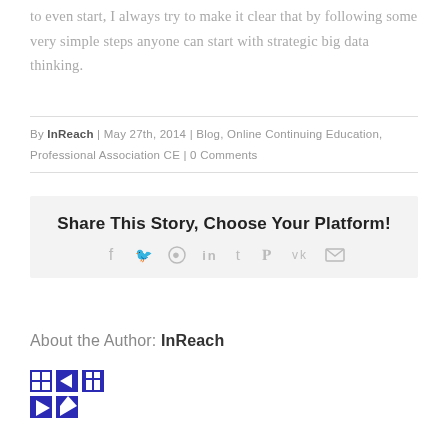to even start, I always try to make it clear that by following some very simple steps anyone can start with strategic big data thinking.
By InReach | May 27th, 2014 | Blog, Online Continuing Education, Professional Association CE | 0 Comments
[Figure (infographic): Share This Story, Choose Your Platform! box with social media icons: Facebook, Twitter, Reddit, LinkedIn, Tumblr, Pinterest, VK, Email]
About the Author: InReach
[Figure (logo): InReach logo — blue pixelated/mosaic graphic mark]